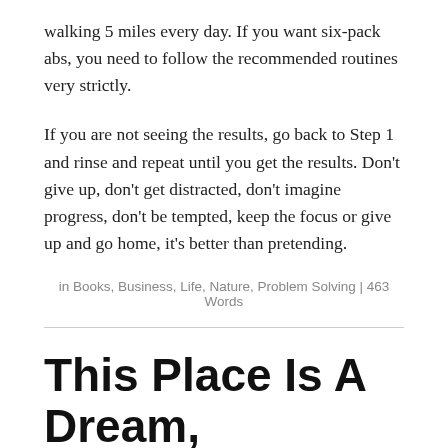walking 5 miles every day. If you want six-pack abs, you need to follow the recommended routines very strictly.
If you are not seeing the results, go back to Step 1 and rinse and repeat until you get the results. Don't give up, don't get distracted, don't imagine progress, don't be tempted, keep the focus or give up and go home, it's better than pretending.
in Books, Business, Life, Nature, Problem Solving | 463 Words
This Place Is A Dream, Only A Sleeper Considers It Real